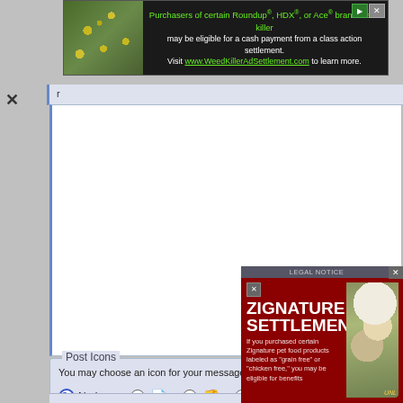[Figure (screenshot): Advertisement banner: Purchasers of certain Roundup®, HDX®, or Ace® brand weed killer may be eligible for a cash payment from a class action settlement. Visit www.WeedKillerAdSettlement.com to learn more.]
[Figure (screenshot): Web browser screenshot showing a text editor/textarea area (blank white box), a 'Post Icons' section with radio buttons and emoji icons (No icon selected, document icon, thumbs down, smiley face, sunglasses), and a popup overlay for 'ZIGNATURE SETTLEMENT' legal notice about Zignature pet food products labeled as 'grain free' or 'chicken free'.]
You may choose an icon for your message from t
No icon
[Figure (screenshot): LEGAL NOTICE popup: ZIGNATURE SETTLEMENT. If you purchased certain Zignature pet food products labeled as 'grain free' or 'chicken free,' you may be eligible for benefits. Shows a dog with a bowl.]